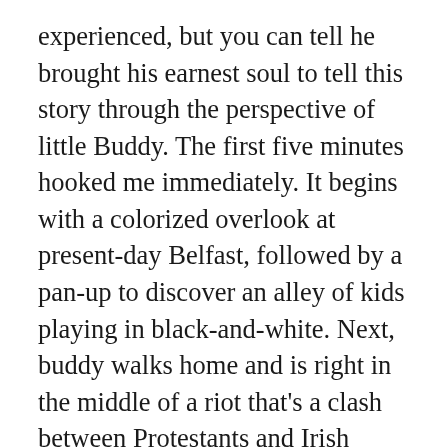experienced, but you can tell he brought his earnest soul to tell this story through the perspective of little Buddy. The first five minutes hooked me immediately. It begins with a colorized overlook at present-day Belfast, followed by a pan-up to discover an alley of kids playing in black-and-white. Next, buddy walks home and is right in the middle of a riot that's a clash between Protestants and Irish Catholics on the streets. While we can look at this and say it's a look back at someone's tribute to their home, it's also a lovely welcoming coming-of-age tale of always remembering your childhood and where we come from. Sometimes in life, we can take for granted the people we meet every day or family members who make us who we are now, wherever we are